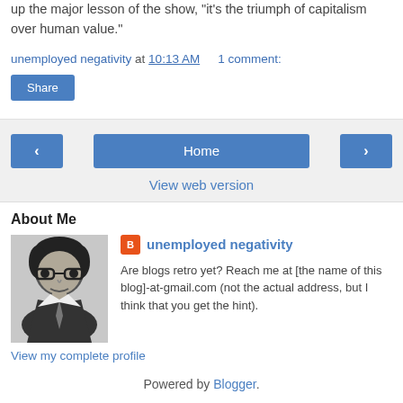up the major lesson of the show, "it's the triumph of capitalism over human value."
unemployed negativity at 10:13 AM    1 comment:
Share
< Home >
View web version
About Me
[Figure (illustration): Stylized black and white portrait illustration of a man with glasses]
unemployed negativity
Are blogs retro yet? Reach me at [the name of this blog]-at-gmail.com (not the actual address, but I think that you get the hint).
View my complete profile
Powered by Blogger.